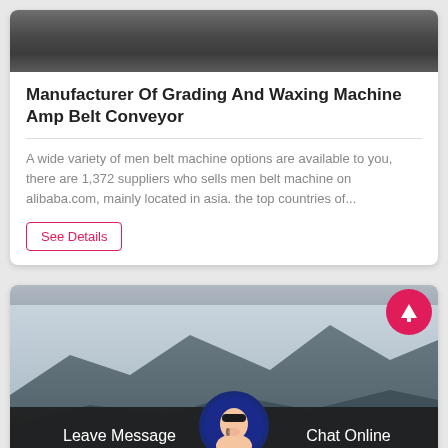[Figure (photo): Top image showing dark rocky/industrial ground surface]
Manufacturer Of Grading And Waxing Machine Amp Belt Conveyor
A wide variety of men belt machine options are available to you, there are 1,372 suppliers who sells men belt machine on alibaba.com, mainly located in asia. the top countries of...
See Details
[Figure (photo): Bottom image showing mountainous landscape with hazy sky]
[Figure (photo): Chat support avatar - woman with headset]
Leave Message
Chat Online